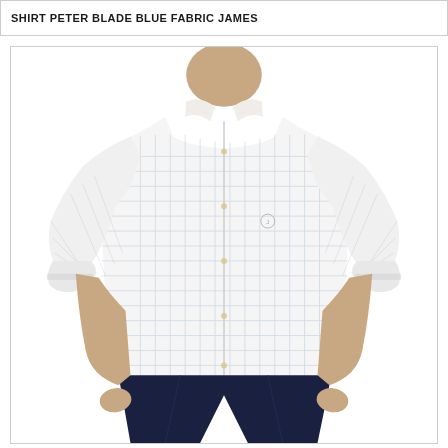SHIRT PETER BLADE BLUE FABRIC JAMES
[Figure (photo): A man wearing a white/light blue checkered long-sleeve button-up shirt with a spread collar and dark navy trousers. The model is shown from neck to below the knee, without showing the face.]